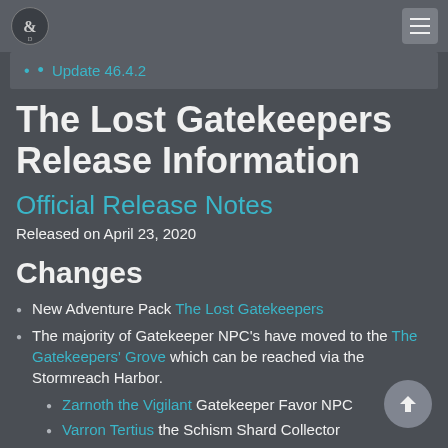D&D Beyond navigation header with logo and hamburger menu
Update 46.4.2
The Lost Gatekeepers Release Information
Official Release Notes
Released on April 23, 2020
Changes
New Adventure Pack The Lost Gatekeepers
The majority of Gatekeeper NPC's have moved to the The Gatekeepers' Grove which can be reached via the Stormreach Harbor.
Zarnoth the Vigilant Gatekeeper Favor NPC
Varron Tertius the Schism Shard Collector